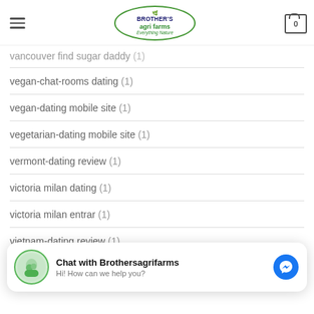Brother's Agri Farms – Everything Nature
vancouver find sugar daddy (1)
vegan-chat-rooms dating (1)
vegan-dating mobile site (1)
vegetarian-dating mobile site (1)
vermont-dating review (1)
victoria milan dating (1)
victoria milan entrar (1)
vietnam-dating review (1)
Chat with Brothersagrifarms – Hi! How can we help you?